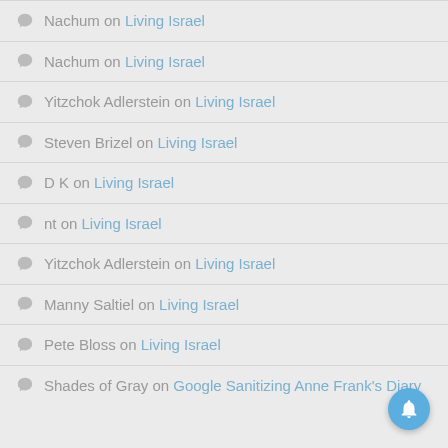Nachum on Living Israel
Nachum on Living Israel
Yitzchok Adlerstein on Living Israel
Steven Brizel on Living Israel
D K on Living Israel
nt on Living Israel
Yitzchok Adlerstein on Living Israel
Manny Saltiel on Living Israel
Pete Bloss on Living Israel
Shades of Gray on Google Sanitizing Anne Frank's Diary